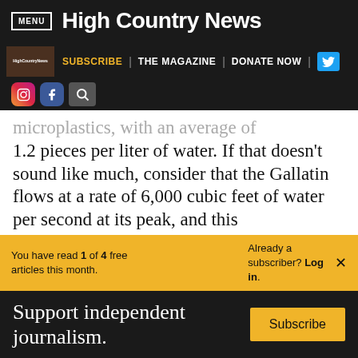MENU | High Country News
SUBSCRIBE | THE MAGAZINE | DONATE NOW
microplastics, with an average of 1.2 pieces per liter of water. If that doesn't sound like much, consider that the Gallatin flows at a rate of 6,000 cubic feet of water per second at its peak, and this
You have read 1 of 4 free articles this month. Already a subscriber? Log in.
Support independent journalism. Subscribe